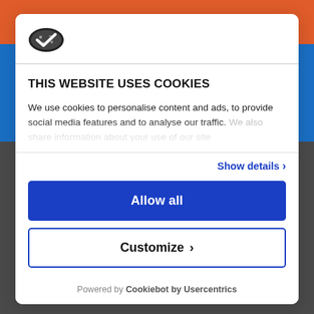[Figure (logo): Cookiebot shield/cookie logo in dark color]
THIS WEBSITE USES COOKIES
We use cookies to personalise content and ads, to provide social media features and to analyse our traffic. We also share information about your use of our site
Show details >
Allow all
Customize >
Powered by Cookiebot by Usercentrics